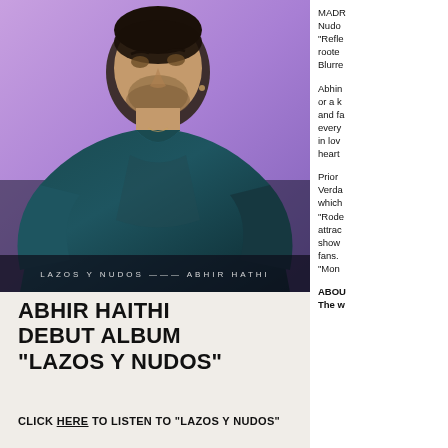[Figure (photo): Photo of Abhir Hathi against a purple/violet background, wearing a teal/dark blue oversized jacket, with text overlay 'LAZOS Y NUDOS — ABHIR HATHI' at the bottom of the image]
ABHIR HAITHI
DEBUT ALBUM
"LAZOS Y NUDOS"
CLICK HERE TO LISTEN TO "LAZOS Y NUDOS"
MADR
Nudo
"Refle
roote
Blurre
Abhin
or a k
and fa
every
in lov
heart
Prior
Verda
which
"Rode
attrac
show
fans.
"Mon
ABOU
The w